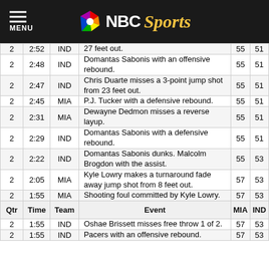NBC Sports
| Qtr | Time | Team | Event | MIA | IND |
| --- | --- | --- | --- | --- | --- |
| 2 | 2:52 | IND | 27 feet out. | 55 | 51 |
| 2 | 2:48 | IND | Domantas Sabonis with an offensive rebound. | 55 | 51 |
| 2 | 2:47 | IND | Chris Duarte misses a 3-point jump shot from 23 feet out. | 55 | 51 |
| 2 | 2:45 | MIA | P.J. Tucker with a defensive rebound. | 55 | 51 |
| 2 | 2:31 | MIA | Dewayne Dedmon misses a reverse layup. | 55 | 51 |
| 2 | 2:29 | IND | Domantas Sabonis with a defensive rebound. | 55 | 51 |
| 2 | 2:22 | IND | Domantas Sabonis dunks. Malcolm Brogdon with the assist. | 55 | 53 |
| 2 | 2:05 | MIA | Kyle Lowry makes a turnaround fade away jump shot from 8 feet out. | 57 | 53 |
| 2 | 1:55 | MIA | Shooting foul committed by Kyle Lowry. | 57 | 53 |
| Qtr | Time | Team | Event | MIA | IND |
| 2 | 1:55 | IND | Oshae Brissett misses free throw 1 of 2. | 57 | 53 |
| 2 | 1:55 | IND | Pacers with an offensive rebound. | 57 | 53 |